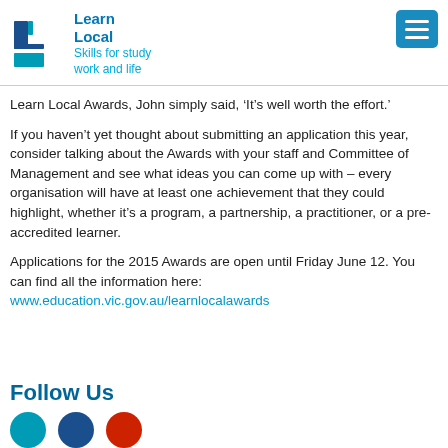Learn Local — Skills for study work and life
Learn Local Awards, John simply said, ‘It’s well worth the effort.’
If you haven’t yet thought about submitting an application this year, consider talking about the Awards with your staff and Committee of Management and see what ideas you can come up with – every organisation will have at least one achievement that they could highlight, whether it’s a program, a partnership, a practitioner, or a pre-accredited learner.
Applications for the 2015 Awards are open until Friday June 12. You can find all the information here: www.education.vic.gov.au/learnlocalawards
Follow Us